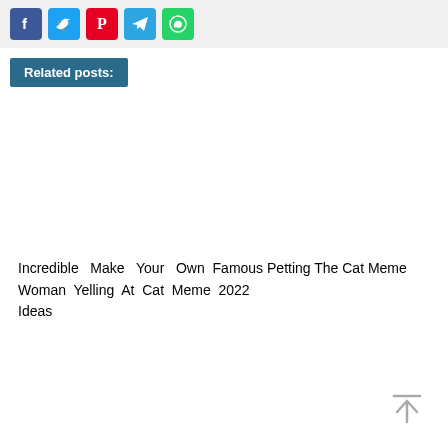[Figure (infographic): Social media share buttons: Facebook (blue), Twitter (light blue), Pinterest (red), Telegram (blue), WhatsApp (green)]
Related posts:
Incredible Make Your Own Famous Petting The Cat Meme Woman Yelling At Cat Meme 2022 Ideas